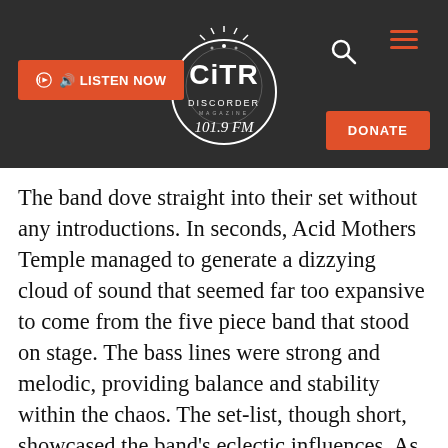[Figure (logo): CiTR Discorder 101.9 FM radio station logo in white on dark background with decorative circular design]
The band dove straight into their set without any introductions. In seconds, Acid Mothers Temple managed to generate a dizzying cloud of sound that seemed far too expansive to come from the five piece band that stood on stage. The bass lines were strong and melodic, providing balance and stability within the chaos. The set-list, though short, showcased the band's eclectic influences. As soon as keyboardist, Higashi Hiroshi played the first few notes of his harmonica I knew that I was in for a Black Sabbath-soaked treat. Acid Mothers Temple's cover of “The Wizard” managed to pay homage to